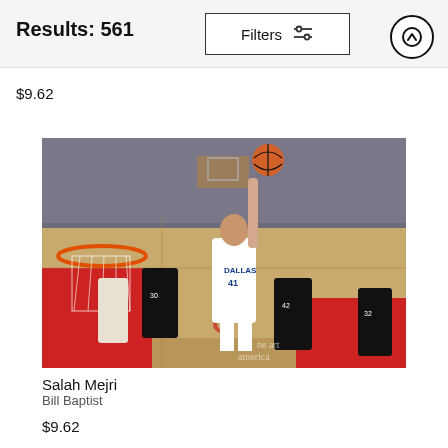Results: 561 | Filters
$9.62
[Figure (photo): NBA basketball game action photo showing Salah Mejri (#41, Dallas Mavericks, white uniform) going up for a layup at the basket in a Houston Rockets arena. Multiple Houston Rockets players in black uniforms including #42 and #32 are nearby. Crowd fills the stands. Getty Images watermark visible in bottom right corner.]
Salah Mejri
Bill Baptist
$9.62